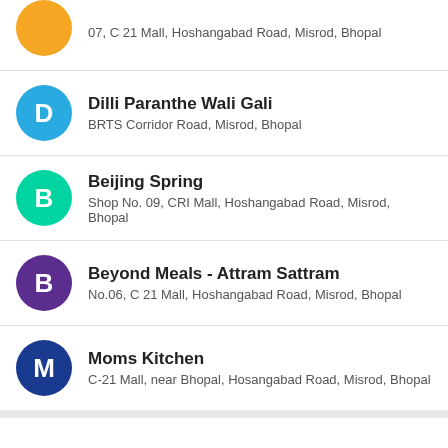07, C 21 Mall, Hoshangabad Road, Misrod, Bhopal
Dilli Paranthe Wali Gali — BRTS Corridor Road, Misrod, Bhopal
Beijing Spring — Shop No. 09, CRI Mall, Hoshangabad Road, Misrod, Bhopal
Beyond Meals - Attram Sattram — No.06, C 21 Mall, Hoshangabad Road, Misrod, Bhopal
Moms Kitchen — C-21 Mall, near Bhopal, Hosangabad Road, Misrod, Bhopal
We will take care of